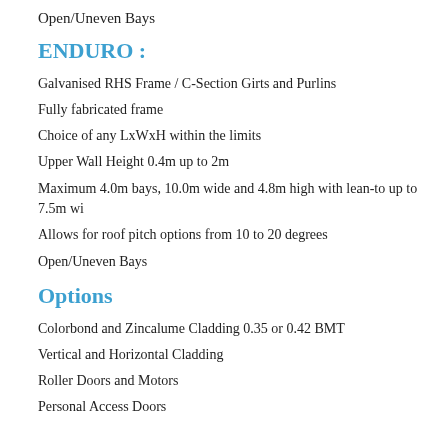Open/Uneven Bays
ENDURO :
Galvanised RHS Frame / C-Section Girts and Purlins
Fully fabricated frame
Choice of any LxWxH within the limits
Upper Wall Height 0.4m up to 2m
Maximum 4.0m bays, 10.0m wide and 4.8m high with lean-to up to 7.5m wide
Allows for roof pitch options from 10 to 20 degrees
Open/Uneven Bays
Options
Colorbond and Zincalume Cladding 0.35 or 0.42 BMT
Vertical and Horizontal Cladding
Roller Doors and Motors
Personal Access Doors